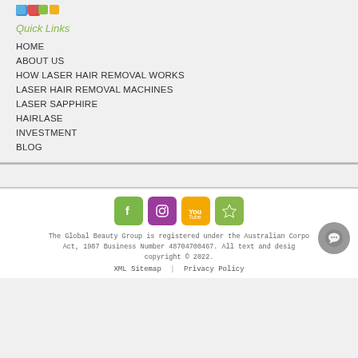[Figure (logo): Colorful logo dots (blue, red, green, yellow)]
Quick Links
HOME
ABOUT US
HOW LASER HAIR REMOVAL WORKS
LASER HAIR REMOVAL MACHINES
LASER SAPPHIRE
HAIRLASE
INVESTMENT
BLOG
[Figure (other): Social media icons: Facebook (green), Instagram (purple), YouTube (orange), Star/review (green)]
The Global Beauty Group is registered under the Australian Corporations Act, 1987 Business Number 48704700467. All text and design copyright © 2022.
XML Sitemap  |  Privacy Policy